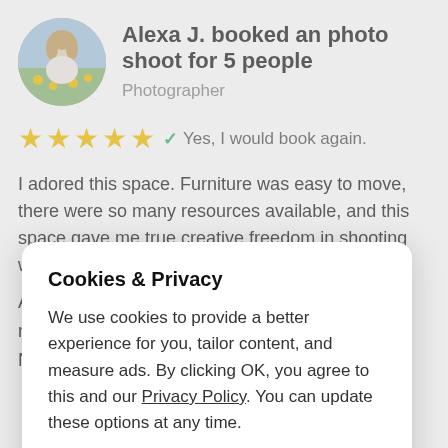[Figure (photo): Circular profile photo of a woman with blonde hair in a field of yellow flowers]
Alexa J. booked an photo shoot for 5 people
Photographer
★★★★★  ✓ Yes, I would book again.
I adored this space. Furniture was easy to move, there were so many resources available, and this space gave me true creative freedom in shooting with my couples.
Cookies & Privacy
We use cookies to provide a better experience for you, tailor content, and measure ads. By clicking OK, you agree to this and our Privacy Policy. You can update these options at any time.